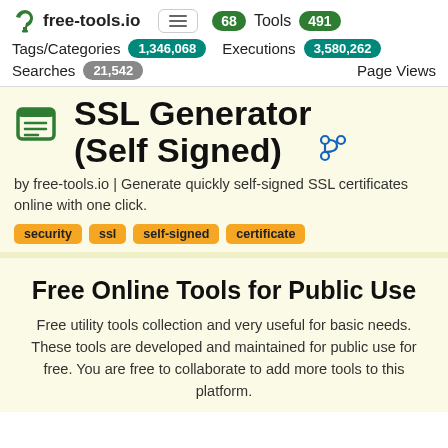free-tools.io — 68 Tools 491 — Tags/Categories 1,346,068 — Executions 3,580,262 — Searches 21,542 — Page Views
SSL Generator (Self Signed)
by free-tools.io | Generate quickly self-signed SSL certificates online with one click.
security  ssl  self-signed  certificate
Free Online Tools for Public Use
Free utility tools collection and very useful for basic needs. These tools are developed and maintained for public use for free. You are free to collaborate to add more tools to this platform.